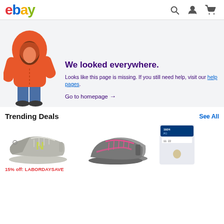ebay
[Figure (illustration): Child wearing orange hooded puffer jacket with hood up, standing facing away slightly]
We looked everywhere.
Looks like this page is missing. If you still need help, visit our help pages.
Go to homepage →
Trending Deals
See All
[Figure (photo): New Balance gray and yellow running shoe]
[Figure (photo): ASICS gray and pink running shoes pair]
[Figure (photo): Coin in PCGS slab grading holder, partially visible]
15% off: LABORDAYSAVE